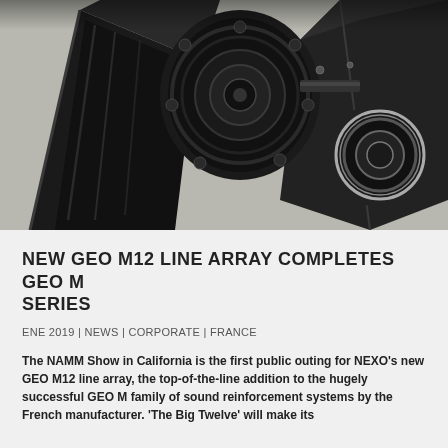[Figure (photo): Close-up product photo of NEXO GEO M12 line array speaker components in black, showing speaker drivers and cabinet details against a dark background, photographed at an angle.]
NEW GEO M12 LINE ARRAY COMPLETES GEO M SERIES
ENE 2019 | NEWS | CORPORATE | FRANCE
The NAMM Show in California is the first public outing for NEXO's new GEO M12 line array, the top-of-the-line addition to the hugely successful GEO M family of sound reinforcement systems by the French manufacturer. 'The Big Twelve' will make its